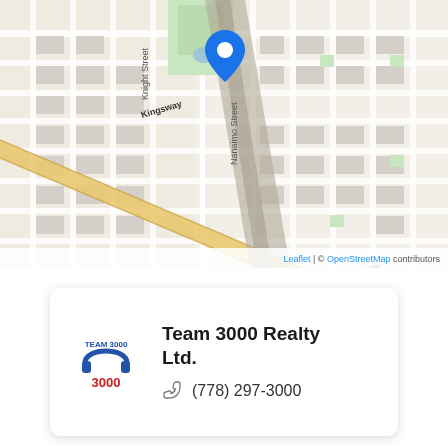[Figure (map): OpenStreetMap map of Vancouver area showing Kingsway corridor, Knight Street, Nanaimo Street, with a blue location pin marker. Map credit: Leaflet | © OpenStreetMap contributors.]
Team 3000 Realty Ltd.
(778) 297-3000